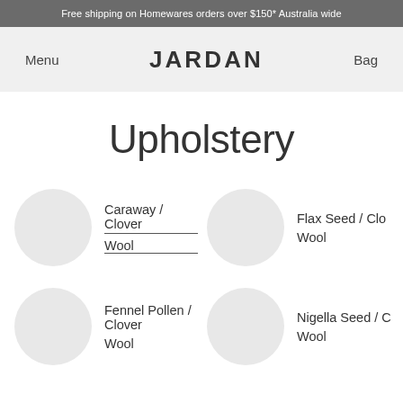Free shipping on Homewares orders over $150* Australia wide
Menu
JARDAN
Bag
Upholstery
[Figure (other): Circular fabric swatch in light grey]
Caraway / Clover Wool
[Figure (other): Circular fabric swatch in light grey]
Flax Seed / Clo... Wool
[Figure (other): Circular fabric swatch in light grey]
Fennel Pollen / Clover Wool
[Figure (other): Circular fabric swatch in light grey]
Nigella Seed / C... Wool